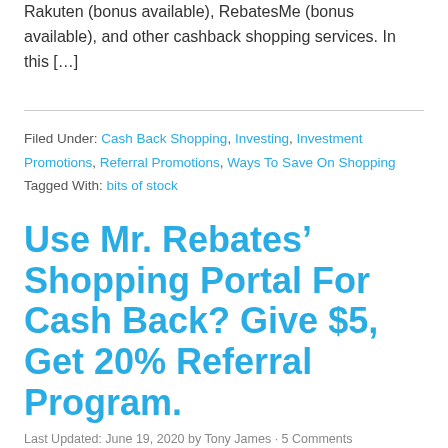Rakuten (bonus available), RebatesMe (bonus available), and other cashback shopping services. In this […]
Filed Under: Cash Back Shopping, Investing, Investment Promotions, Referral Promotions, Ways To Save On Shopping
Tagged With: bits of stock
Use Mr. Rebates' Shopping Portal For Cash Back? Give $5, Get 20% Referral Program.
Last Updated: June 19, 2020 by Tony James · 5 Comments